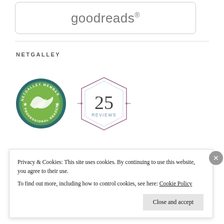[Figure (logo): Goodreads logo in a rounded rectangle box]
NETGALLEY
[Figure (logo): NetGalley Member Professional Reader badge (circular green badge with arrow) and 25 Reviews hexagon badge]
Privacy & Cookies: This site uses cookies. By continuing to use this website, you agree to their use.
To find out more, including how to control cookies, see here: Cookie Policy
Close and accept